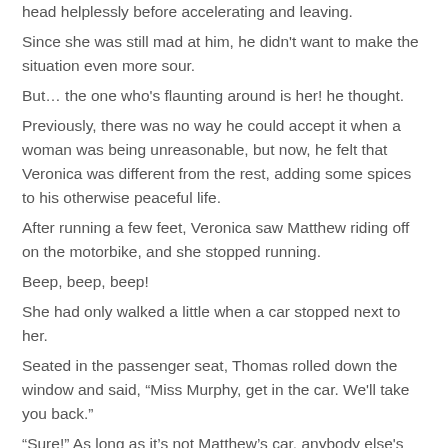head helplessly before accelerating and leaving.
Since she was still mad at him, he didn't want to make the situation even more sour.
But… the one who's flaunting around is her! he thought.
Previously, there was no way he could accept it when a woman was being unreasonable, but now, he felt that Veronica was different from the rest, adding some spices to his otherwise peaceful life.
After running a few feet, Veronica saw Matthew riding off on the motorbike, and she stopped running.
Beep, beep, beep!
She had only walked a little when a car stopped next to her.
Seated in the passenger seat, Thomas rolled down the window and said, “Miss Murphy, get in the car. We'll take you back.”
“Sure!” As long as it’s not Matthew’s car, anybody else's car will do.
“Mr. Ritter, you’re a nice guy,” she said while she opened the car door and got in.
“Thanks for the compliment, Miss Murphy,” he answered. It’s not